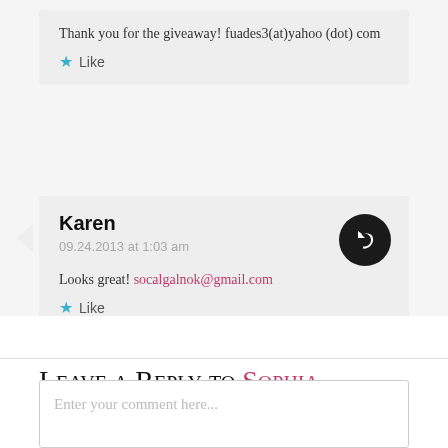Thank you for the giveaway! fuades3(at)yahoo(dot)com
Like
Karen
09.24.2013 at 1:03 am
Looks great! socalgalnok@gmail.com
Like
Leave a Reply to SOPHIA SMITH  CANCEL REPLY
Enter your comment here...